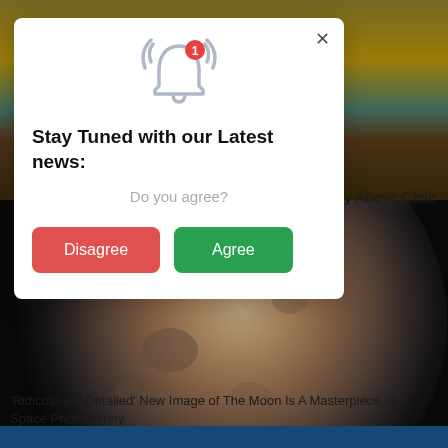[Figure (photo): Background: top portion shows a painted or illustrated landscape with golden sky and teal/brown mountains. Lower portion shows a highly detailed close-up photograph of the moon against a dark background.]
The Sky Above Chile
[Figure (screenshot): Modal popup dialog with bell notification icon (with red badge showing '1'), title 'Stay Tuned with our Latest news:', subtitle 'Do you agree?', a red 'Disagree' button and a green 'Agree' button, and an X close button.]
'Ridiculously Detailed' New Image of The Moon Is A Masterpiece of Space Photography